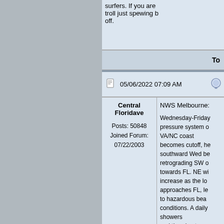surfers. If you are troll just spewing b off.
To
05/06/2022 07:09 AM
Central Floridave
Posts: 50848
Joined Forum: 07/22/2003
NWS Melbourne:

Wednesday-Friday pressure system o VA/NC coast becomes cutoff, he southward Wed be retrograding SW o towards FL. NE wi increase as the lo approaches FL, le to hazardous bea conditions. A daily showers and thunderstorms the forecast. Highs mid 80s inland and low 80s coast.

While models cont maintain good agr the development and trajectory of th timing and location with the ECM bringing